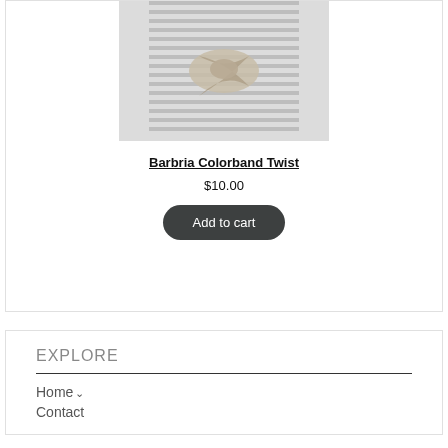[Figure (photo): Product photo of a striped fabric headband twisted in the center, shown on a light gray background]
Barbria Colorband Twist
$10.00
Add to cart
EXPLORE
Home
Contact